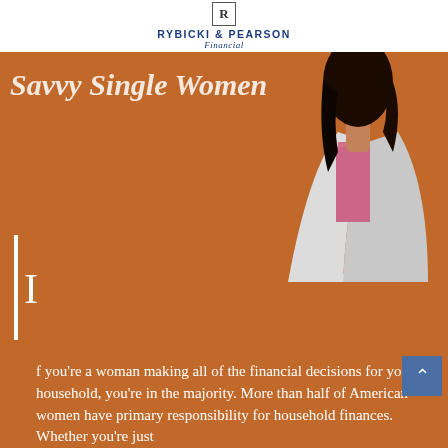RYBICKI & PEARSON Financial
[Figure (photo): A woman in a white blazer and pink top against an orange/brown background, cropped to show torso and dark hair]
Savvy Single Women
If you're a woman making all of the financial decisions for your household, you're in the majority. More than half of American women have primary responsibility for household finances. Whether you're just